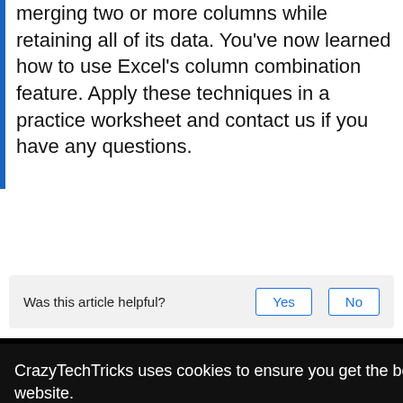merging two or more columns while retaining all of its data. You've now learned how to use Excel's column combination feature. Apply these techniques in a practice worksheet and contact us if you have any questions.
Was this article helpful?
Yes
No
CrazyTechTricks uses cookies to ensure you get the best experience on the website.
Know more
OKAY